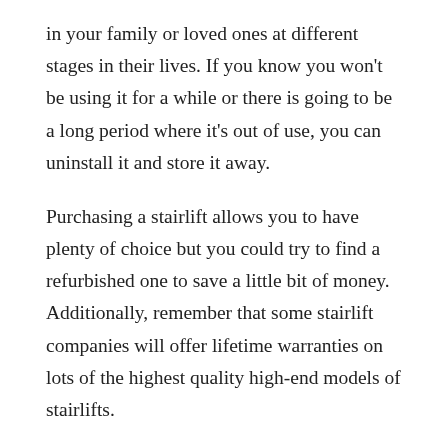in your family or loved ones at different stages in their lives. If you know you won't be using it for a while or there is going to be a long period where it's out of use, you can uninstall it and store it away.
Purchasing a stairlift allows you to have plenty of choice but you could try to find a refurbished one to save a little bit of money. Additionally, remember that some stairlift companies will offer lifetime warranties on lots of the highest quality high-end models of stairlifts.
At Alfix, we understand the uncertainty that may come with purchasing your stairlift. Nevertheless, our expert and in-depth knowledge of stairlifts means we are able to advise you on the most appropriate